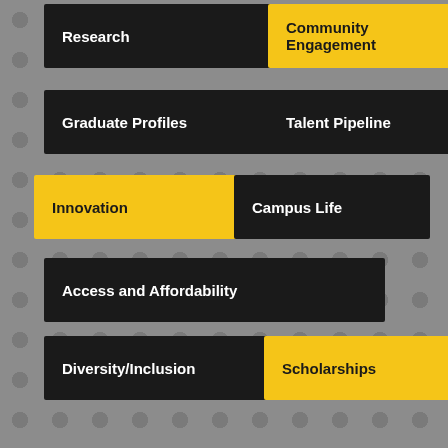[Figure (infographic): Collection of labeled topic tags on a grey dotted background. Tags include Research (dark), Community Engagement (yellow), Graduate Profiles (dark), Talent Pipeline (dark), Innovation (yellow), Campus Life (dark), Access and Affordability (dark), Diversity/Inclusion (dark), Scholarships (yellow), Innovation Campus (dark), College of Health Professions (dark), Athletics (dark), College of Applied Studies (dark), and a partially visible dark tag at the bottom.]